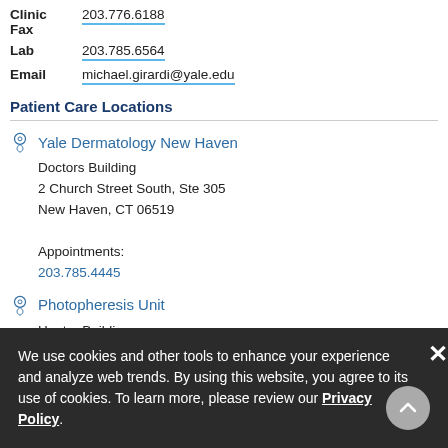| Field | Value |
| --- | --- |
| Clinic Fax | 203.776.6188 |
| Lab | 203.785.6564 |
| Email | michael.girardi@yale.edu |
Patient Care Locations
Yale Dermatology New Haven
Doctors Building
2 Church Street South, Ste 305
New Haven, CT 06519
Appointments:
203.785.4445
Photopheresis Unit
Hunter Building
New Haven, CT 0650
Mailing
Dermatology
We use cookies and other tools to enhance your experience and analyze web trends. By using this website, you agree to its use of cookies. To learn more, please review our Privacy Policy.